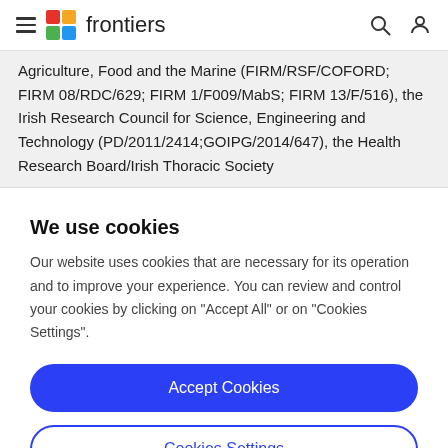frontiers
Agriculture, Food and the Marine (FIRM/RSF/COFORD; FIRM 08/RDC/629; FIRM 1/F009/MabS; FIRM 13/F/516), the Irish Research Council for Science, Engineering and Technology (PD/2011/2414;<s></s>GOIPG/2014/647), the Health Research Board/Irish Thoracic Society
We use cookies
Our website uses cookies that are necessary for its operation and to improve your experience. You can review and control your cookies by clicking on "Accept All" or on "Cookies Settings".
Accept Cookies
Cookies Settings